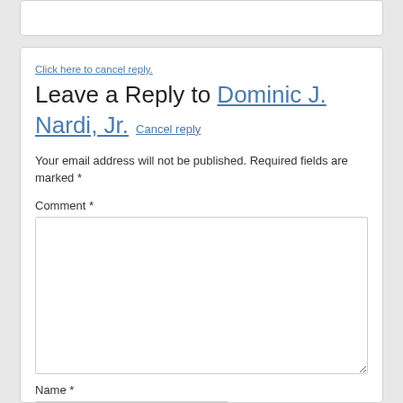Click here to cancel reply.
Leave a Reply to Dominic J. Nardi, Jr. Cancel reply
Your email address will not be published. Required fields are marked *
Comment *
Name *